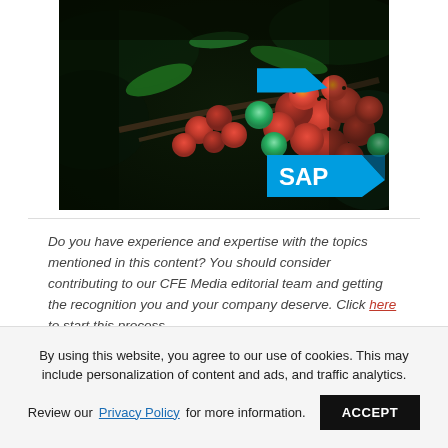[Figure (photo): Photo of red coffee berries/cherries on a branch with green leaves in the background, with SAP logo overlay in bottom-right corner]
Do you have experience and expertise with the topics mentioned in this content? You should consider contributing to our CFE Media editorial team and getting the recognition you and your company deserve. Click here to start this process.
By using this website, you agree to our use of cookies. This may include personalization of content and ads, and traffic analytics. Review our Privacy Policy for more information. ACCEPT